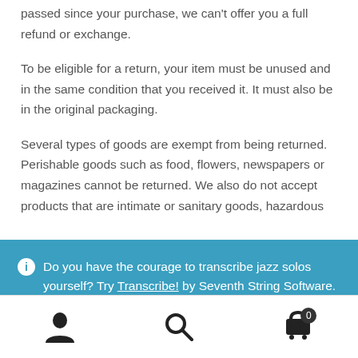passed since your purchase, we can't offer you a full refund or exchange.
To be eligible for a return, your item must be unused and in the same condition that you received it. It must also be in the original packaging.
Several types of goods are exempt from being returned. Perishable goods such as food, flowers, newspapers or magazines cannot be returned. We also do not accept products that are intimate or sanitary goods, hazardous
Do you have the courage to transcribe jazz solos yourself? Try Transcribe! by Seventh String Software. Dismiss
[Figure (infographic): Bottom navigation bar with user/account icon, search icon, and shopping cart icon with badge showing 0]